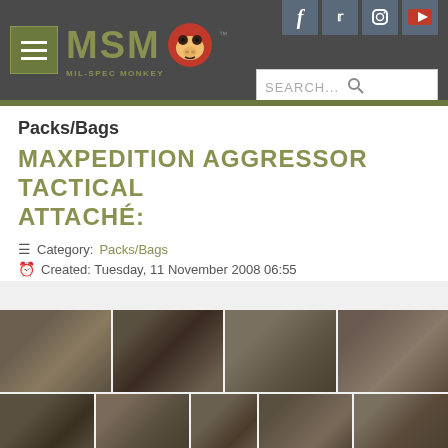MSM Mil-Spec Monkey - navigation header with hamburger menu, social icons (Facebook, Twitter, Instagram, YouTube), and search bar
Packs/Bags
MAXPEDITION AGGRESSOR TACTICAL ATTACHÉ:
Category: Packs/Bags
Created: Tuesday, 11 November 2008 06:55
[Figure (photo): Photo gallery of Maxpedition Aggressor Tactical Attaché bag showing 9 images: front view with pockets, side view with brown leather accents, flat lay views, interior open view, messenger carry style, and close-up of exterior pockets.]